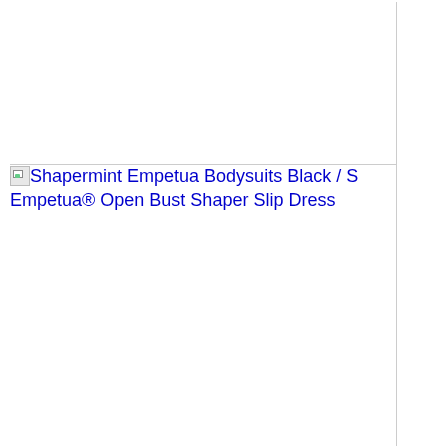[Figure (photo): Blank white area above a horizontal rule, representing a product image area for Shapermint Empetua Bodysuits]
Shapermint Empetua Bodysuits Black / S Empetua® Open Bust Shaper Slip Dress